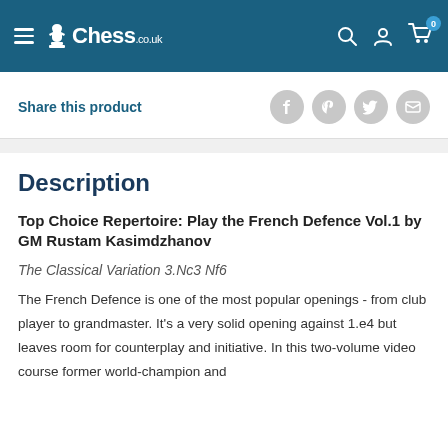Chess.co.uk
Share this product
Description
Top Choice Repertoire: Play the French Defence Vol.1 by GM Rustam Kasimdzhanov
The Classical Variation 3.Nc3 Nf6
The French Defence is one of the most popular openings - from club player to grandmaster. It's a very solid opening against 1.e4 but leaves room for counterplay and initiative. In this two-volume video course former world-champion and